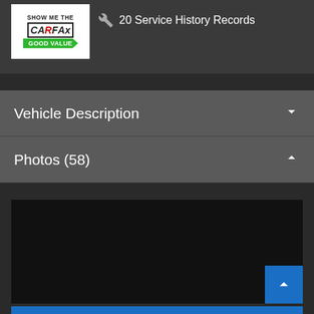[Figure (logo): CARFAX SHOW ME THE CARFAX logo with GOOD VALUE badge]
20 Service History Records
Vehicle Description
Photos (58)
[Figure (photo): Dark/black photo area]
Text Us